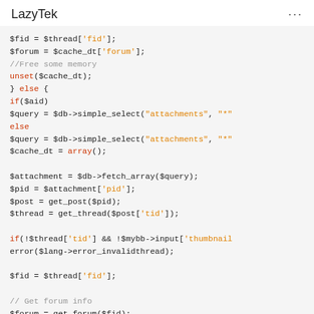LazyTek ...
[Figure (screenshot): PHP code snippet showing variable assignments, conditional logic, and database queries including $fid, $forum, unset($cache_dt), if/else blocks with $db->simple_select for attachments, fetch_array, get_post, get_thread, error checking, and get_forum calls.]